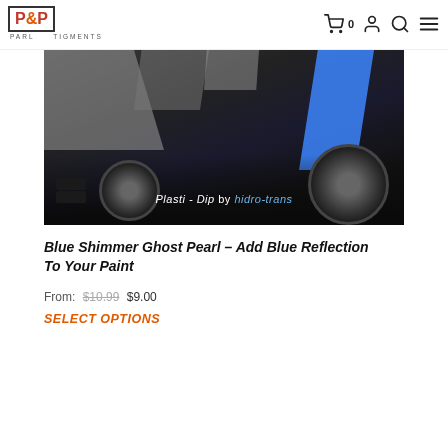P&P Pigments - navigation header with cart, account, search, and menu icons
[Figure (photo): A sports car wrapped in grey geometric camouflage pattern with a blue stripe accent, shot from the rear quarter. Text overlay reads 'Plasti-Dip by hidro-trans'. Dark studio background.]
Blue Shimmer Ghost Pearl – Add Blue Reflection To Your Paint
From: $10.99 $9.00
SELECT OPTIONS
[Figure (photo): Hands working on an orange surface with a SALE! badge in the top left corner. reCAPTCHA widget visible in bottom right corner.]